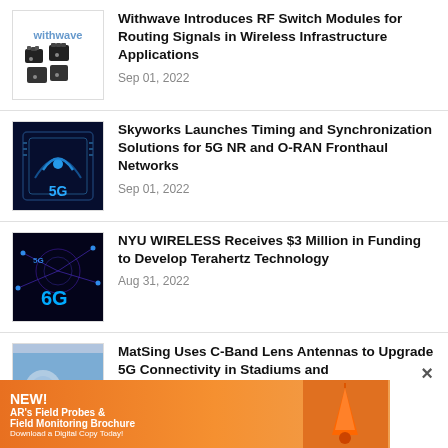[Figure (photo): Withwave logo and RF switch module products on white background]
Withwave Introduces RF Switch Modules for Routing Signals in Wireless Infrastructure Applications
Sep 01, 2022
[Figure (photo): 5G chip/circuit board graphic with blue digital glow and 5G logo]
Skyworks Launches Timing and Synchronization Solutions for 5G NR and O-RAN Fronthaul Networks
Sep 01, 2022
[Figure (photo): 6G wireless network concept image with purple/blue tones and 5G and 6G labels]
NYU WIRELESS Receives $3 Million in Funding to Develop Terahertz Technology
Aug 31, 2022
[Figure (photo): Antenna/satellite equipment on blue sky background]
MatSing Uses C-Band Lens Antennas to Upgrade 5G Connectivity in Stadiums and
[Figure (infographic): Advertisement banner: NEW! AR's Field Probes & Field Monitoring Brochure. Download a Digital Copy Today! With orange probe image.]